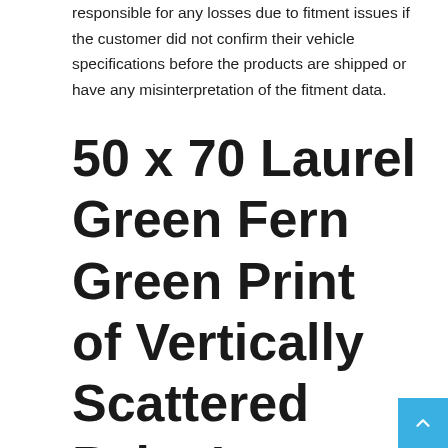responsible for any losses due to fitment issues if the customer did not confirm their vehicle specifications before the products are shipped or have any misinterpretation of the fitment data.
50 x 70 Laurel Green Fern Green Print of Vertically Scattered Palm Leaves Hawaiian Vibes Ambesonne Exotic Soft Flannel...